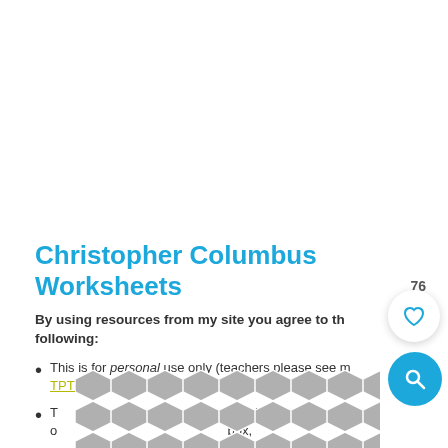[Figure (illustration): Large white blank area at the top of the page, likely where an image or worksheet preview would appear]
Christopher Columbus Worksheets
By using resources from my site you agree to the following:
This is for personal use only (teachers please see my TPT store)
This is not to be shared or distributed on any box,